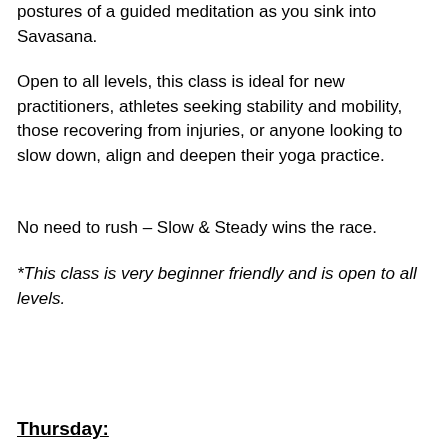postures of a guided meditation as you sink into Savasana.
Open to all levels, this class is ideal for new practitioners, athletes seeking stability and mobility, those recovering from injuries, or anyone looking to slow down, align and deepen their yoga practice.
No need to rush – Slow & Steady wins the race.
*This class is very beginner friendly and is open to all levels.
Thursday: